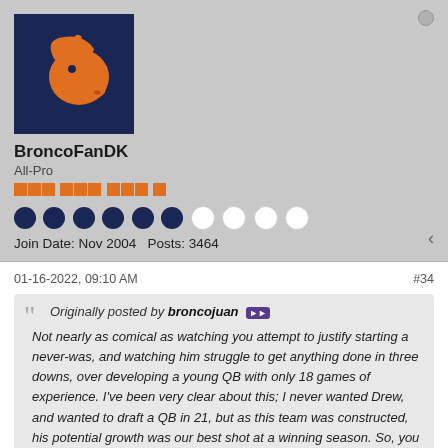[Figure (illustration): Denver Broncos logo on dark navy blue background — profile avatar]
BroncoFanDK
All-Pro
Join Date: Nov 2004   Posts: 3464
01-16-2022, 09:10 AM   #34
Originally posted by broncojuan [icon] Not nearly as comical as watching you attempt to justify starting a never-was, and watching him struggle to get anything done in three downs, over developing a young QB with only 18 games of experience. I've been very clear about this; I never wanted Drew, and wanted to draft a QB in 21, but as this team was constructed, his potential growth was our best shot at a winning season. So, you attempting to paint me as some Drew Lock apologist is just kinda sad.